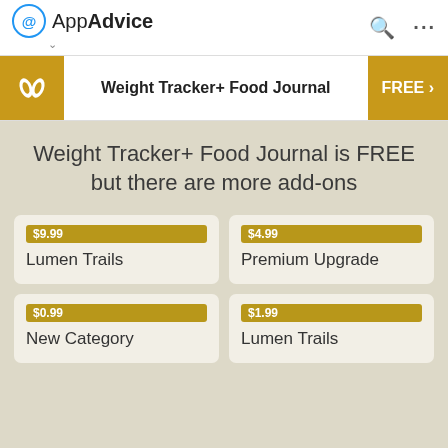AppAdvice
Weight Tracker+ Food Journal   FREE >
Weight Tracker+ Food Journal is FREE but there are more add-ons
$9.99 Lumen Trails
$4.99 Premium Upgrade
$0.99 New Category
$1.99 Lumen Trails